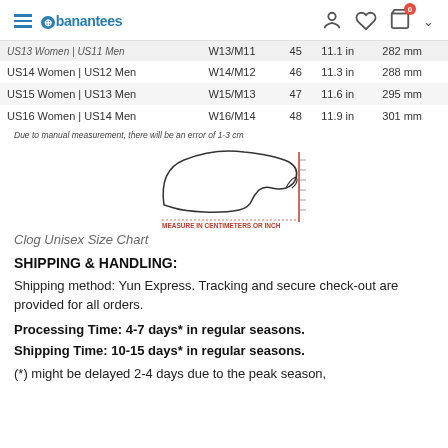banantees
|  |  |  |  |  |
| --- | --- | --- | --- | --- |
| US13 Women | US11 Men | W13/M11 | 45 | 11.1 in | 282 mm |
| US14 Women | US12 Men | W14/M12 | 46 | 11.3 in | 288 mm |
| US15 Women | US13 Men | W15/M13 | 47 | 11.6 in | 295 mm |
| US16 Women | US14 Men | W16/M14 | 48 | 11.9 in | 301 mm |
Due to manual measurement, there will be an error of 1-3 cm
[Figure (illustration): Foot outline diagram with red vertical measurement line and ruler markings. Label reads: MEASURE IN CENTIMETERS OR INCH]
Clog Unisex Size Chart
SHIPPING & HANDLING:
Shipping method: Yun Express. Tracking and secure check-out are provided for all orders.
Processing Time: 4-7 days* in regular seasons.
Shipping Time: 10-15 days* in regular seasons.
(*) might be delayed 2-4 days due to the peak season,